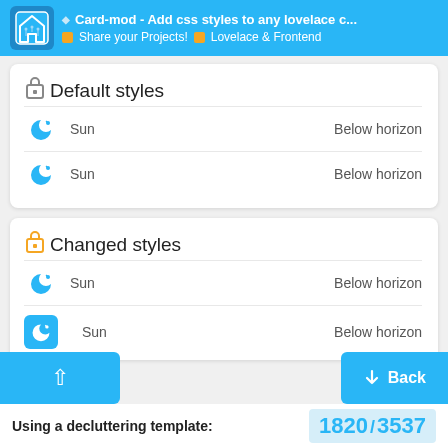Card-mod - Add css styles to any lovelace c... | Share your Projects! | Lovelace & Frontend
Default styles
Sun — Below horizon
Sun — Below horizon
Changed styles
Sun — Below horizon
Sun — Below horizon
Using a decluttering template: 1820 / 3537